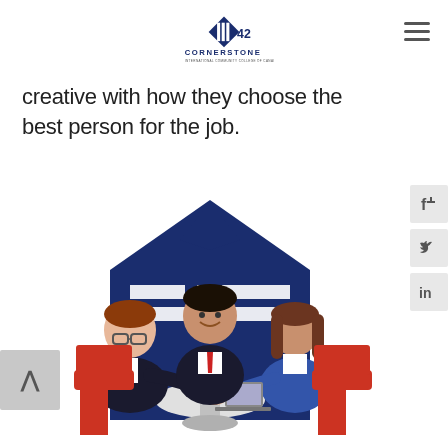[Figure (logo): Cornerstone International Community College of Canada logo with '42' text and diamond/pillar icon]
creative with how they choose the best person for the job.
[Figure (illustration): Flat design illustration of three people (two men and a woman) sitting/standing at a table in a business meeting/interview setting, with a dark blue house/building shape in the background. The people are shaking hands across a table with a laptop and coffee cups.]